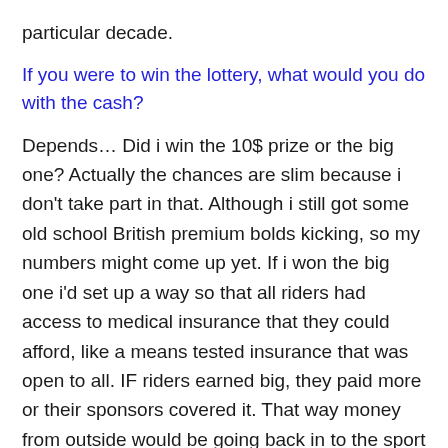particular decade.
If you were to win the lottery, what would you do with the cash?
Depends… Did i win the 10$ prize or the big one? Actually the chances are slim because i don't take part in that. Although i still got some old school British premium bolds kicking, so my numbers might come up yet. If i won the big one i'd set up a way so that all riders had access to medical insurance that they could afford, like a means tested insurance that was open to all. IF riders earned big, they paid more or their sponsors covered it. That way money from outside would be going back in to the sport as a whole. If somepeople had really wanted to 'give something back' to bmx… They would have started there. There would still be